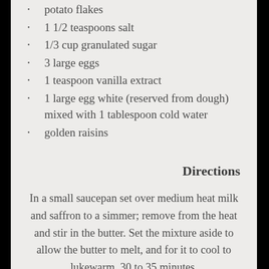potato flakes
1 1/2 teaspoons salt
1/3 cup granulated sugar
3 large eggs
1 teaspoon vanilla extract
1 large egg white (reserved from dough) mixed with 1 tablespoon cold water
golden raisins
Directions
In a small saucepan set over medium heat milk and saffron to a simmer; remove from the heat and stir in the butter. Set the mixture aside to allow the butter to melt, and for it to cool to lukewarm, 30 to 35 minutes.